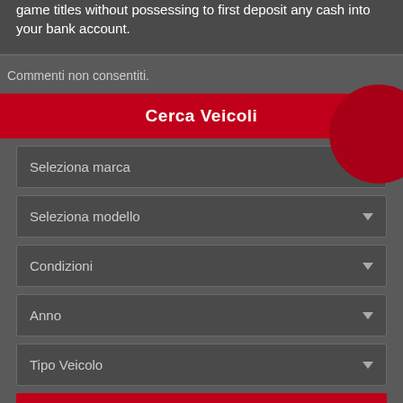game titles without possessing to first deposit any cash into your bank account.
Commenti non consentiti.
Cerca Veicoli
Seleziona marca
Seleziona modello
Condizioni
Anno
Tipo Veicolo
Ricerca